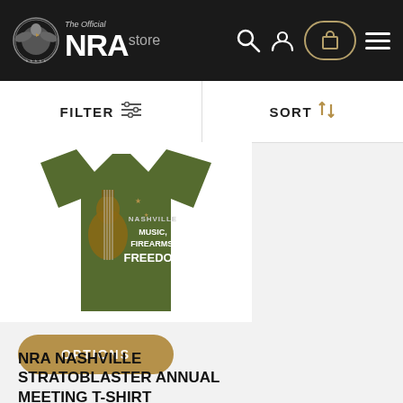[Figure (logo): The Official NRA Store logo with eagle emblem on dark background, with search, account, cart, and menu icons]
FILTER  SORT
[Figure (photo): Green NRA Nashville Stratoblaster t-shirt with guitar graphic and text NASHVILLE MUSIC, FIREARMS, FREEDOM]
OPTIONS
NRA NASHVILLE STRATOBLASTER ANNUAL MEETING T-SHIRT